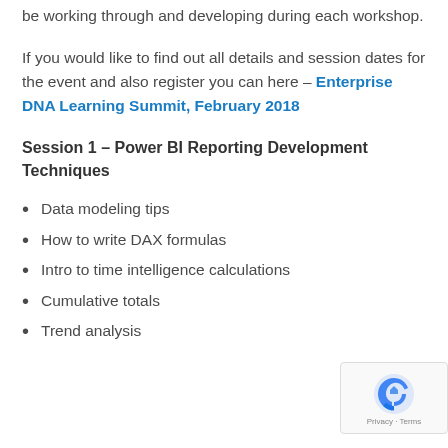session, with a bit of detail about what I'll be working through and developing during each workshop.
If you would like to find out all details and session dates for the event and also register you can here – Enterprise DNA Learning Summit, February 2018
Session 1 – Power BI Reporting Development Techniques
Data modeling tips
How to write DAX formulas
Intro to time intelligence calculations
Cumulative totals
Trend analysis